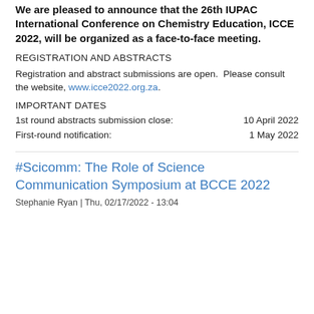We are pleased to announce that the 26th IUPAC International Conference on Chemistry Education, ICCE 2022, will be organized as a face-to-face meeting.
REGISTRATION AND ABSTRACTS
Registration and abstract submissions are open.  Please consult the website, www.icce2022.org.za.
IMPORTANT DATES
1st round abstracts submission close:	10 April 2022
First-round notification:	1 May 2022
#Scicomm: The Role of Science Communication Symposium at BCCE 2022
Stephanie Ryan | Thu, 02/17/2022 - 13:04